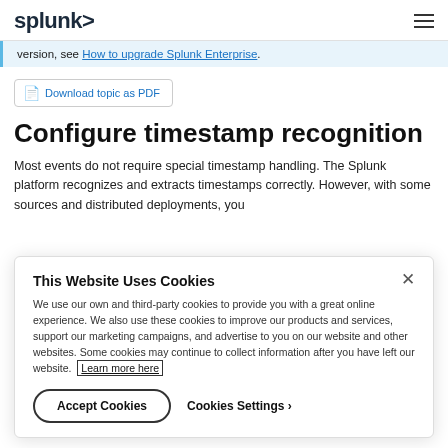splunk>
version, see How to upgrade Splunk Enterprise.
Download topic as PDF
Configure timestamp recognition
Most events do not require special timestamp handling. The Splunk platform recognizes and extracts timestamps correctly. However, with some sources and distributed deployments, you
This Website Uses Cookies
We use our own and third-party cookies to provide you with a great online experience. We also use these cookies to improve our products and services, support our marketing campaigns, and advertise to you on our website and other websites. Some cookies may continue to collect information after you have left our website. Learn more here
Accept Cookies
Cookies Settings ›